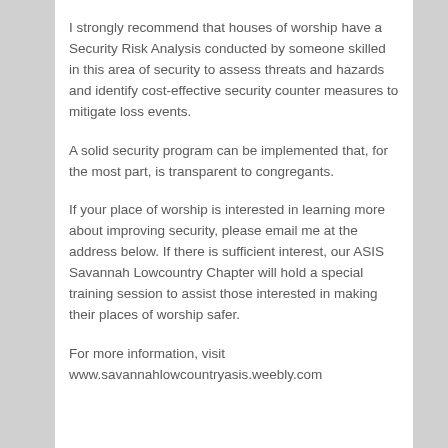I strongly recommend that houses of worship have a Security Risk Analysis conducted by someone skilled in this area of security to assess threats and hazards and identify cost-effective security counter measures to mitigate loss events.
A solid security program can be implemented that, for the most part, is transparent to congregants.
If your place of worship is interested in learning more about improving security, please email me at the address below. If there is sufficient interest, our ASIS Savannah Lowcountry Chapter will hold a special training session to assist those interested in making their places of worship safer.
For more information, visit www.savannahlowcountryasis.weebly.com